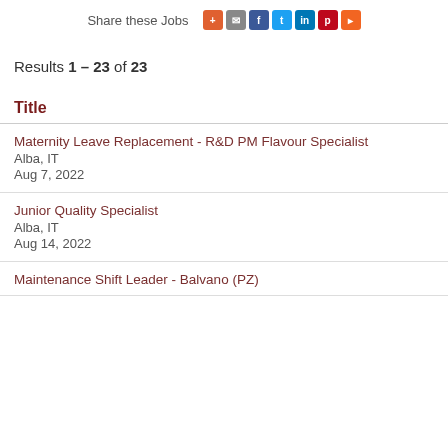Share these Jobs
Results 1 – 23 of 23
Title
Maternity Leave Replacement - R&D PM Flavour Specialist
Alba, IT
Aug 7, 2022
Junior Quality Specialist
Alba, IT
Aug 14, 2022
Maintenance Shift Leader - Balvano (PZ)